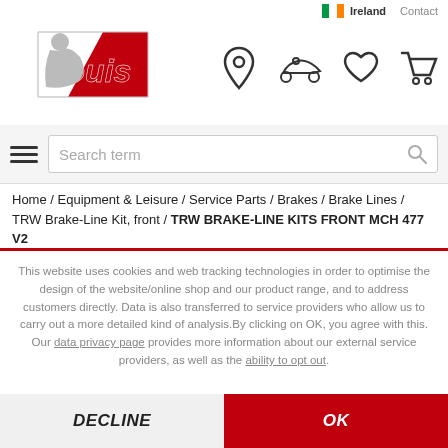Ireland  Contact
[Figure (logo): Louis motorcycle accessories brand logo with rider illustration]
[Figure (infographic): Navigation icons: location pin, motorcycle, heart, shopping cart]
Search term
Home / Equipment & Leisure / Service Parts / Brakes / Brake Lines / TRW Brake-Line Kit, front / TRW BRAKE-LINE KITS FRONT MCH 477 V2
This website uses cookies and web tracking technologies in order to optimise the design of the website/online shop and our product range, and to address customers directly. Data is also transferred to service providers who allow us to carry out a more detailed kind of analysis.By clicking on OK, you agree with this. Our data privacy page provides more information about our external service providers, as well as the ability to opt out.
DECLINE
OK